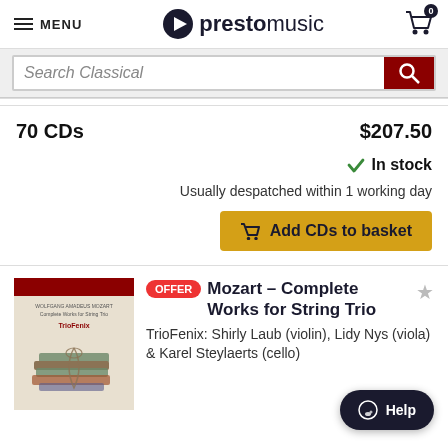MENU | prestomusic | Cart: 0
Search Classical
70 CDs   $207.50
✓ In stock
Usually despatched within 1 working day
Add CDs to basket
[Figure (photo): Album cover for Mozart - Complete Works for String Trio by TrioFenix, showing stacked old books tied with a ribbon on a blue surface, with a dark red header band.]
OFFER  Mozart – Complete Works for String Trio ★
TrioFenix: Shirly Laub (violin), Lidy Nys (viola) & Karel Steylaerts (cello)